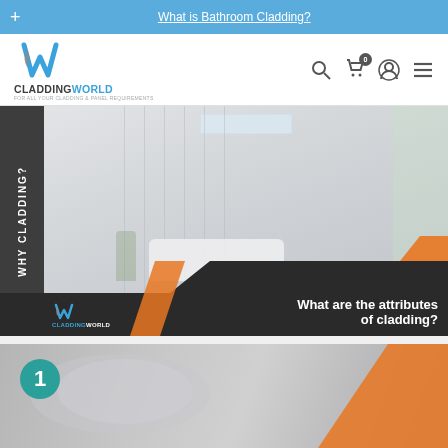What is Bathroom Cladding?
[Figure (logo): Cladding World logo with stylized W in blue and grey]
[Figure (photo): Banner image showing modern white bathroom with freestanding bathtub, vertical cladding panels, and text overlay reading 'What are the attributes of cladding?' with WHY CLADDING sidebar and Cladding World logo]
[Figure (photo): Second image showing fabric/material samples with orange diagonal stripe and teal circle with number 1]